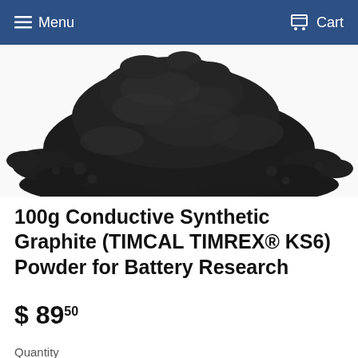Menu   Cart
[Figure (photo): Black granular synthetic graphite powder pile on white background]
100g Conductive Synthetic Graphite (TIMCAL TIMREX® KS6) Powder for Battery Research
$ 89.50
Quantity